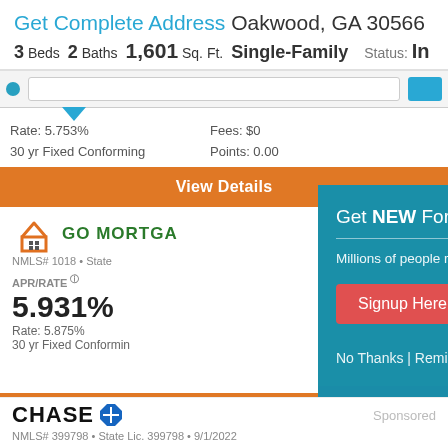Get Complete Address Oakwood, GA 30566
3 Beds  2 Baths  1,601 Sq. Ft.  Single-Family  Status: In
Rate: 5.753%
30 yr Fixed Conforming
Fees: $0
Points: 0.00
View Details
[Figure (logo): GO MORTGAGE logo with orange house icon]
NMLS# 1018 • State
APR/RATE
5.931%
Rate: 5.875%
30 yr Fixed Conforming
[Figure (infographic): Popup overlay: Get NEW Foreclosure Listings sent to your inbox. Millions of people receive foreclosure alerts daily, don't miss out. Signup Here button. No Thanks | Remind Me Later. White envelope icon.]
[Figure (logo): CHASE logo with blue octagon icon. Sponsored label.]
NMLS# 399798 • State Lic. 399798 • 9/1/2022